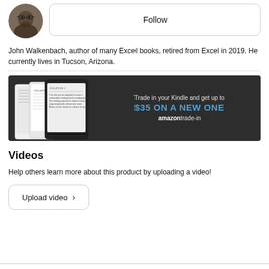[Figure (photo): Circular avatar photo of a man with glasses]
Follow
John Walkenbach, author of many Excel books, retired from Excel in 2019. He currently lives in Tucson, Arizona.
[Figure (infographic): Amazon trade-in advertisement banner: 'Trade in your Kindle and get up to $35 ON A NEW ONE amazontrade-in' with Kindle device images on dark background]
Videos
Help others learn more about this product by uploading a video!
Upload video >